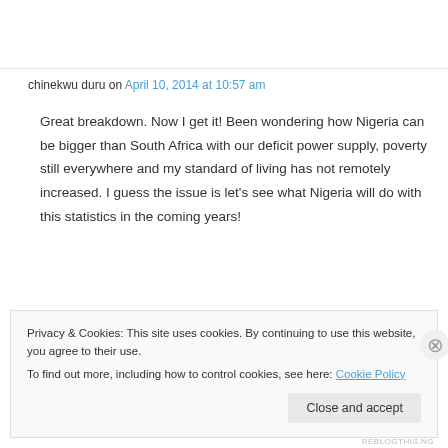chinekwu duru on April 10, 2014 at 10:57 am
Great breakdown. Now I get it! Been wondering how Nigeria can be bigger than South Africa with our deficit power supply, poverty still everywhere and my standard of living has not remotely increased. I guess the issue is let's see what Nigeria will do with this statistics in the coming years!
Privacy & Cookies: This site uses cookies. By continuing to use this website, you agree to their use.
To find out more, including how to control cookies, see here: Cookie Policy
Close and accept